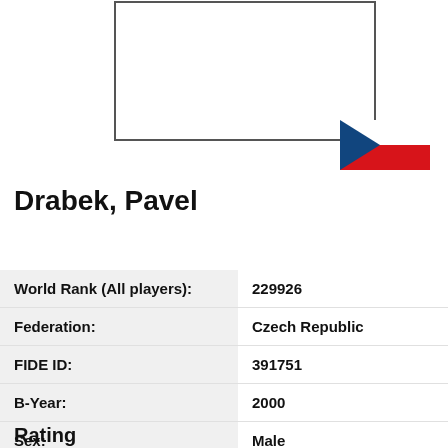[Figure (illustration): Partial view of a player profile card showing a rectangular frame outline at top with the Czech Republic flag (blue triangle on left, white and red horizontal bands) visible at bottom right of the frame.]
Drabek, Pavel
| World Rank (All players): | 229926 |
| Federation: | Czech Republic |
| FIDE ID: | 391751 |
| B-Year: | 2000 |
| Sex: | Male |
| FIDE title: | None |
Rating